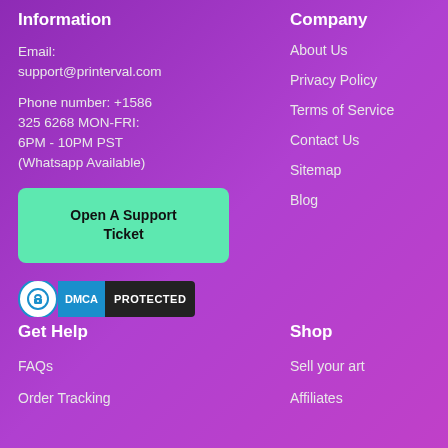Information
Email:
support@printerval.com
Phone number: +1586 325 6268 MON-FRI:
6PM - 10PM PST
(Whatsapp Available)
Open A Support Ticket
[Figure (logo): DMCA PROTECTED badge with lock icon]
Company
About Us
Privacy Policy
Terms of Service
Contact Us
Sitemap
Blog
Get Help
FAQs
Order Tracking
Shop
Sell your art
Affiliates